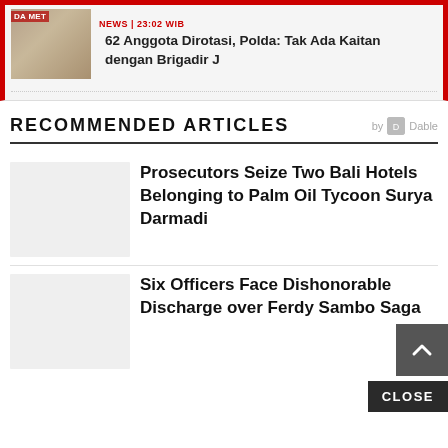NEWS | 23:02 WIB
62 Anggota Dirotasi, Polda: Tak Ada Kaitan dengan Brigadir J
RECOMMENDED ARTICLES
Prosecutors Seize Two Bali Hotels Belonging to Palm Oil Tycoon Surya Darmadi
Six Officers Face Dishonorable Discharge over Ferdy Sambo Saga